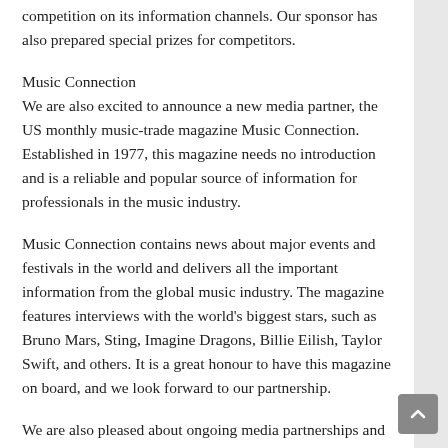competition on its information channels. Our sponsor has also prepared special prizes for competitors.
Music Connection
We are also excited to announce a new media partner, the US monthly music-trade magazine Music Connection. Established in 1977, this magazine needs no introduction and is a reliable and popular source of information for professionals in the music industry.
Music Connection contains news about major events and festivals in the world and delivers all the important information from the global music industry. The magazine features interviews with the world's biggest stars, such as Bruno Mars, Sting, Imagine Dragons, Billie Eilish, Taylor Swift, and others. It is a great honour to have this magazine on board, and we look forward to our partnership.
We are also pleased about ongoing media partnerships and cooperation with the ACN Newswire the globally recognized press release distributor.
Unique competition categories this year...